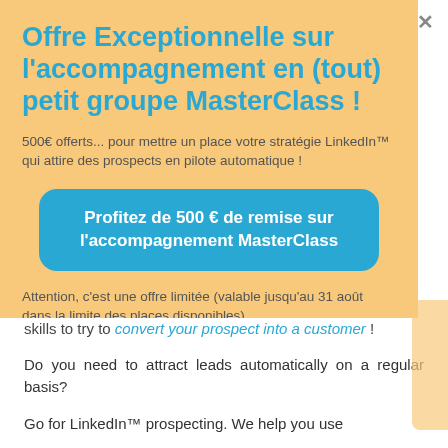Offre Exceptionnelle sur l'accompagnement en (tout) petit groupe MasterClass !
500€ offerts... pour mettre un place votre stratégie LinkedIn™ qui attire des prospects en pilote automatique !
Profitez de 500 € de remise sur l'accompagnement MasterClass
Attention, c'est une offre limitée (valable jusqu'au 31 août dans la limite des places disponibles).
skills to try to convert your prospect into a customer !
Do you need to attract leads automatically on a regular basis?
Go for LinkedIn™ prospecting. We help you use